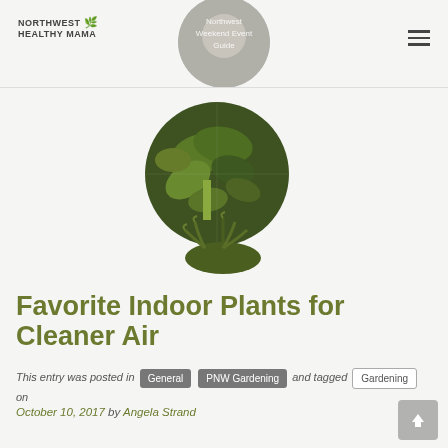NORTHWEST HEALTHY MAMA | Northwest Weekend Event Guide
[Figure (photo): Circular header image showing Northwest Weekend Event Guide with a person holding vegetables]
[Figure (photo): Circular image of indoor plants with green leaves, possibly a jade plant, with a fern below]
Favorite Indoor Plants for Cleaner Air
This entry was posted in General PNW Gardening and tagged Gardening on
October 10, 2017 by Angela Strand